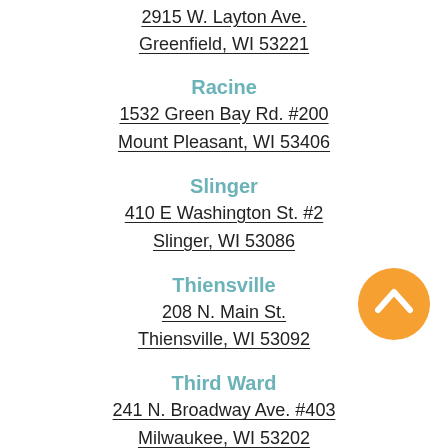2915 W. Layton Ave.
Greenfield, WI 53221
Racine
1532 Green Bay Rd. #200
Mount Pleasant, WI 53406
Slinger
410 E Washington St. #2
Slinger, WI 53086
Thiensville
208 N. Main St.
Thiensville, WI 53092
Third Ward
241 N. Broadway Ave. #403
Milwaukee, WI 53202
[Figure (illustration): Orange circular back-to-top button with upward chevron arrow]
West Bend